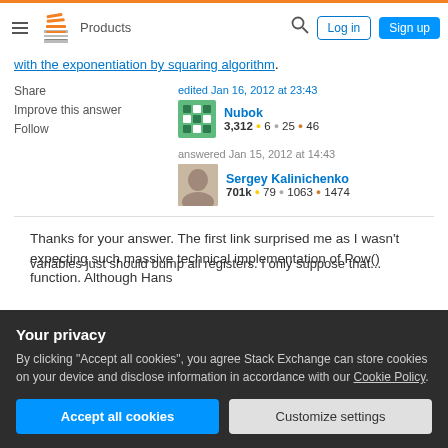Stack Overflow navigation bar with Products, Search, Log in, Sign up
with the exponentiation by squaring algorithm.
Share   Improve this answer   Follow   edited Jan 16, 2012 at 23:43   Nubok   3,312 ●6 ●25 ●46
answered Jan 15, 2012 at 14:43   Sergey Kalinichenko   701k ●79 ●1063 ●1474
Thanks for your answer. The first link surprised me as I wasn't expecting such massive technical implementation of Pow() function. Although Hans...
Your privacy
By clicking "Accept all cookies", you agree Stack Exchange can store cookies on your device and disclose information in accordance with our Cookie Policy.
Accept all cookies   Customize settings
variables just should bump all registers. I only suppose that...